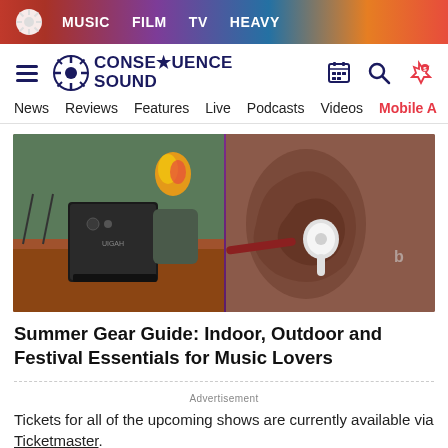MUSIC  FILM  TV  HEAVY
CONSEQUENCE SOUND
News  Reviews  Features  Live  Podcasts  Videos  Mobile A
[Figure (photo): Split image: left side shows a black portable power station/generator (labeled UIGAH) on reddish dirt ground with camping chairs and a fire in the background; right side shows a close-up of a person's ear with a white earbud inserted.]
Summer Gear Guide: Indoor, Outdoor and Festival Essentials for Music Lovers
Tickets for all of the upcoming shows are currently available via Ticketmaster.